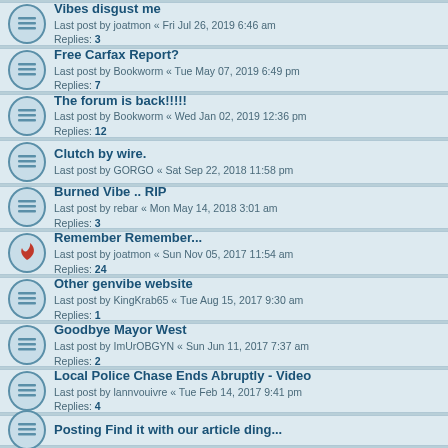Vibes disgust me
Last post by joatmon « Fri Jul 26, 2019 6:46 am
Replies: 3
Free Carfax Report?
Last post by Bookworm « Tue May 07, 2019 6:49 pm
Replies: 7
The forum is back!!!!!
Last post by Bookworm « Wed Jan 02, 2019 12:36 pm
Replies: 12
Clutch by wire.
Last post by GORGO « Sat Sep 22, 2018 11:58 pm
Burned Vibe .. RIP
Last post by rebar « Mon May 14, 2018 3:01 am
Replies: 3
Remember Remember...
Last post by joatmon « Sun Nov 05, 2017 11:54 am
Replies: 24
Other genvibe website
Last post by KingKrab65 « Tue Aug 15, 2017 9:30 am
Replies: 1
Goodbye Mayor West
Last post by ImUrOBGYN « Sun Jun 11, 2017 7:37 am
Replies: 2
Local Police Chase Ends Abruptly - Video
Last post by lannvouivre « Tue Feb 14, 2017 9:41 pm
Replies: 4
Posting Find it with our article ding...